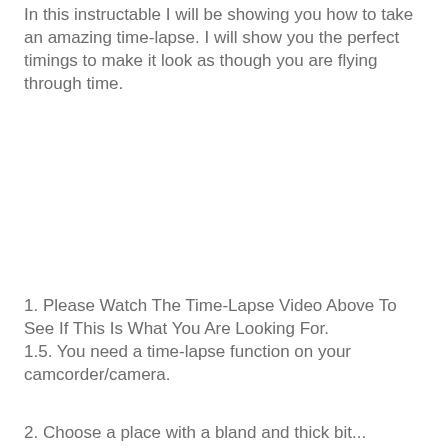In this instructable I will be showing you how to take an amazing time-lapse. I will show you the perfect timings to make it look as though you are flying through time.
1. Please Watch The Time-Lapse Video Above To See If This Is What You Are Looking For.
1.5. You need a time-lapse function on your camcorder/camera.
2. Choose a place with a bland and thick bit...